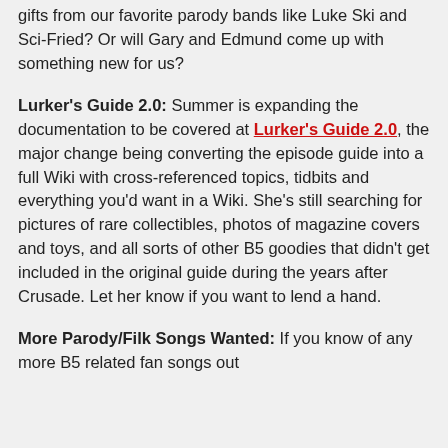gifts from our favorite parody bands like Luke Ski and Sci-Fried? Or will Gary and Edmund come up with something new for us?
Lurker's Guide 2.0: Summer is expanding the documentation to be covered at Lurker's Guide 2.0, the major change being converting the episode guide into a full Wiki with cross-referenced topics, tidbits and everything you'd want in a Wiki. She's still searching for pictures of rare collectibles, photos of magazine covers and toys, and all sorts of other B5 goodies that didn't get included in the original guide during the years after Crusade. Let her know if you want to lend a hand.
More Parody/Filk Songs Wanted: If you know of any more B5 related fan songs out